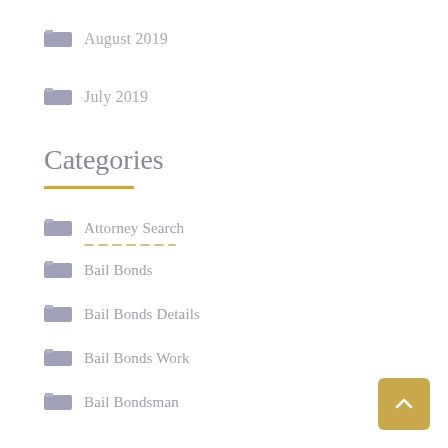August 2019
July 2019
Categories
Attorney Search
Bail Bonds
Bail Bonds Details
Bail Bonds Work
Bail Bondsman